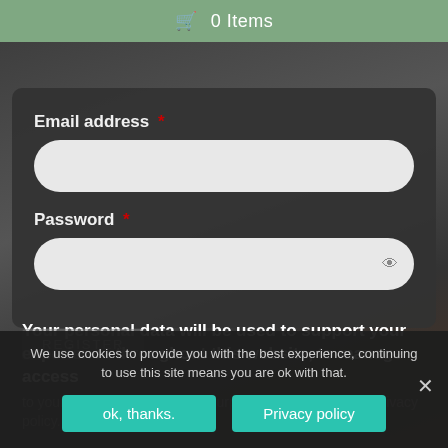🛒 0 Items
Email address *
Password *
Your personal data will be used to support your experience throughout this website, to manage access to your account, and for other purposes described in our privacy policy.
We use cookies to provide you with the best experience, continuing to use this site means you are ok with that.
ok, thanks.
Privacy policy